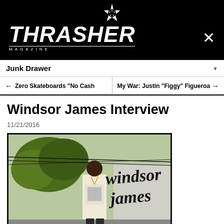THRASHER MAGAZINE
Junk Drawer
← Zero Skateboards "No Cash    My War: Justin "Figgy" Figueroa →
Windsor James Interview
11/21/2016
[Figure (photo): Photo of Windsor James standing outdoors with trees and overhead wires visible. Cursive text 'windsor james' overlaid in large black script lettering on the right side of the image.]